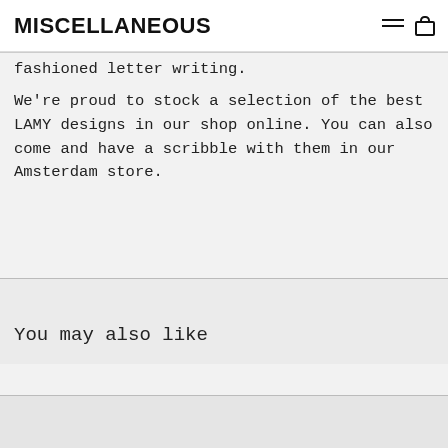MISCELLANEOUS
fashioned letter writing.
We're proud to stock a selection of the best LAMY designs in our shop online. You can also come and have a scribble with them in our Amsterdam store.
You may also like